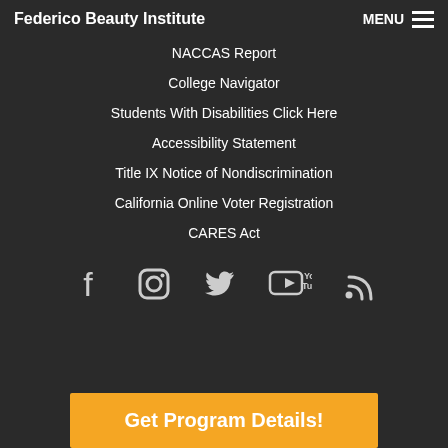Federico Beauty Institute
NACCAS Report
College Navigator
Students With Disabilities Click Here
Accessibility Statement
Title IX Notice of Nondiscrimination
California Online Voter Registration
CARES Act
[Figure (infographic): Social media icons row: Facebook, Instagram, Twitter, YouTube, RSS]
Get Program Details!